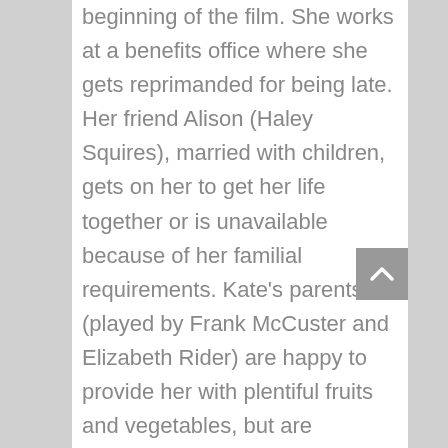beginning of the film. She works at a benefits office where she gets reprimanded for being late. Her friend Alison (Haley Squires), married with children, gets on her to get her life together or is unavailable because of her familial requirements. Kate's parents (played by Frank McCuster and Elizabeth Rider) are happy to provide her with plentiful fruits and vegetables, but are justifiably worried about her. She submerges herself in a beach fantasy with a man she cannot see the face of. On the surface, Kate is just merely existing. That all changes when a man walks into her job one day. Blond (Tom Burke) is ragged, full of charisma, and completely intoxicated Kate with possibilities. Even though he never gives full confirmation other than passionate flings and